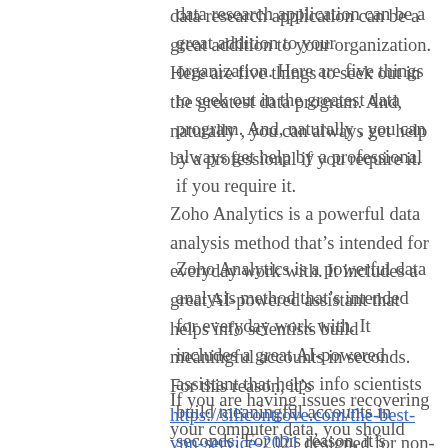data research application can be a great addition to your organization. Here are five things to seek out in the greatest data program. And, naturally , you can always get help by a professional if you require it.
Zoho Analytics is a powerful data analysis method that's intended for everyday work with. It includes a great AI-powered assistant that helps info scientists build meaningful accounts in seconds. For this reason, it's https://silicontrove.com/the-best-vpn-service-2021 designed for non-technical users. Zoho Analytics is comparatively inexpensive at $22 every user each month, although you can try it out free of charge before committing to it. In addition, it comes with an comprehensive database and robust tools.
If you are having issues recovering your computer data, you should consider using SysTools hard drive data recovery application. This multiple